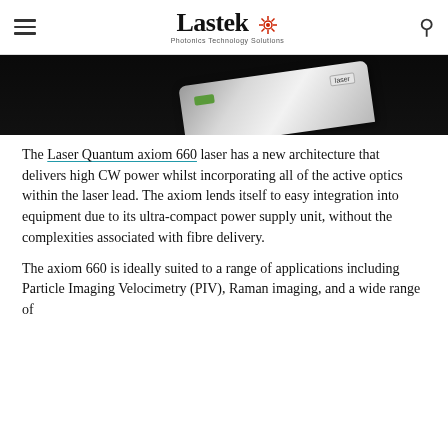Lastek — Photonics Technology Solutions
[Figure (photo): Product photo of a Laser Quantum axiom 660 laser device on a dark/black background, showing a white rectangular device at an angle with a green indicator and a label reading 'laser'.]
The Laser Quantum axiom 660 laser has a new architecture that delivers high CW power whilst incorporating all of the active optics within the laser lead. The axiom lends itself to easy integration into equipment due to its ultra-compact power supply unit, without the complexities associated with fibre delivery.
The axiom 660 is ideally suited to a range of applications including Particle Imaging Velocimetry (PIV), Raman imaging, and a wide range of